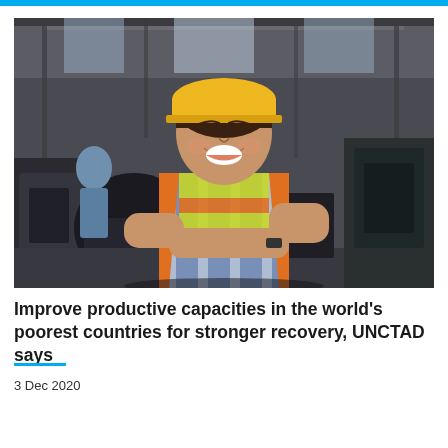[Figure (photo): A smiling woman wearing a yellow hard hat and orange safety vest with reflective green and white stripes stands with arms crossed in an industrial factory workshop setting. She is in the foreground; machinery and another worker are visible in the blurred background.]
Improve productive capacities in the world's poorest countries for stronger recovery, UNCTAD says
3 Dec 2020